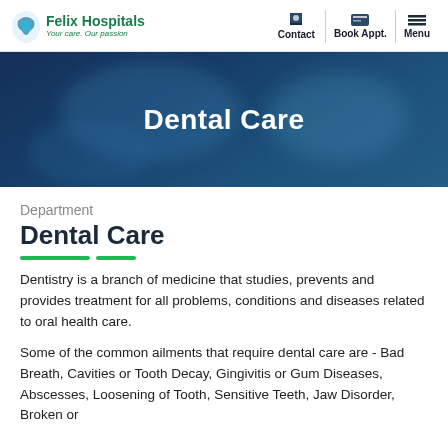Felix Hospitals — Your care. Our passion. | Contact | Book Appt. | Menu
[Figure (photo): Hero banner image showing dental procedure with teal/blue overlay and text 'Dental Care']
Dental Care
Department
Dental Care
Dentistry is a branch of medicine that studies, prevents and provides treatment for all problems, conditions and diseases related to oral health care.
Some of the common ailments that require dental care are - Bad Breath, Cavities or Tooth Decay, Gingivitis or Gum Diseases, Abscesses, Loosening of Tooth, Sensitive Teeth, Jaw Disorder, Broken or